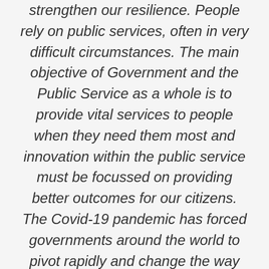strengthen our resilience. People rely on public services, often in very difficult circumstances. The main objective of Government and the Public Service as a whole is to provide vital services to people when they need them most and innovation within the public service must be focussed on providing better outcomes for our citizens. The Covid-19 pandemic has forced governments around the world to pivot rapidly and change the way they organise their activities to meet the needs of the